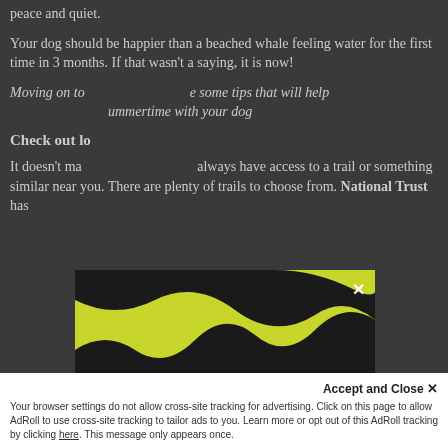peace and quiet.
Your dog should be happier than a beached whale feeling water for the first time in 3 months. If that wasn’t a saying, it is now!
Moving on to… [obscured by modal] some tips that will help [obscured] summertime with your dog[obscured]
Check out lo[cal trails]
It doesn’t ma[tter…] always have access to a trail or something similar near you. There are plenty of trails to choose from. National Trust has
[Figure (infographic): Modal popup with black background and yellow-green wavy graphic elements at top and bottom. Contains close X button and text: 'We apologize, PetChatz products are temporarily unavailable – we’re on our way to a new distribution center. Check back soon!']
Accept and Close ×
Your browser settings do not allow cross-site tracking for advertising. Click on this page to allow AdRoll to use cross-site tracking to tailor ads to you. Learn more or opt out of this AdRoll tracking by clicking here. This message only appears once.